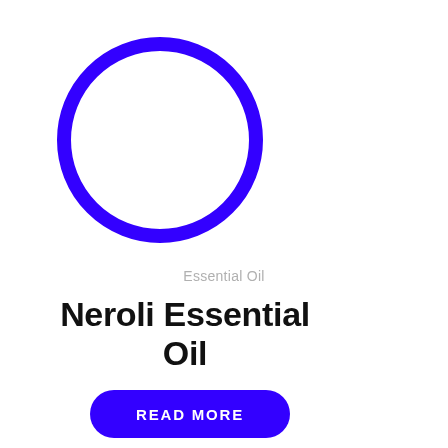[Figure (illustration): A large circle with a thick blue/indigo border (stroke) and white fill, serving as a placeholder for a product image.]
Essential Oil
Neroli Essential Oil
READ MORE